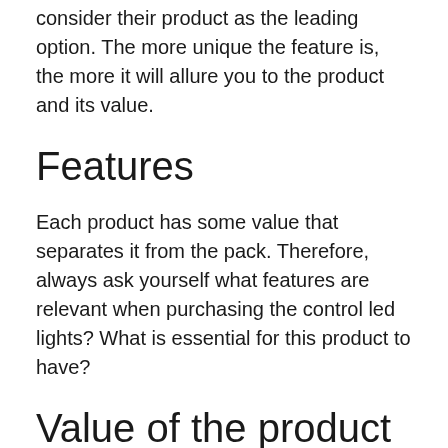consider their product as the leading option. The more unique the feature is, the more it will allure you to the product and its value.
Features
Each product has some value that separates it from the pack. Therefore, always ask yourself what features are relevant when purchasing the control led lights? What is essential for this product to have?
Value of the product
This factor is crucial since it can tell you how much value you will get for your money’s worth when purchasing this.